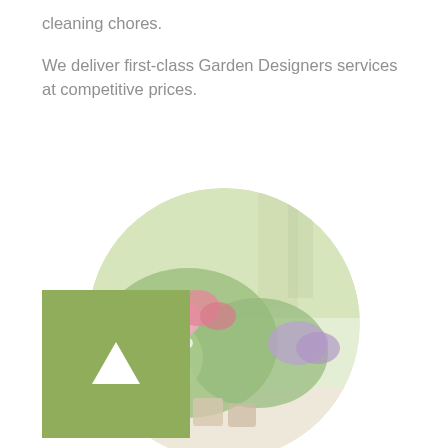cleaning chores.
We deliver first-class Garden Designers services at competitive prices.
[Figure (photo): Circular cropped photo of colorful garden flowers including pink, red and purple blooms with green foliage, potted plants on a table, with trees in background — soft pastel/washed-out tones.]
[Figure (other): Green square button with a white upward-pointing triangle (play/up arrow) in the center.]